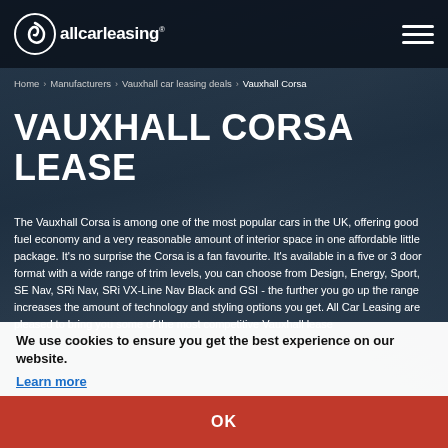[Figure (logo): allcarleasing logo with spiral icon and white text]
Home > Manufacturers > Vauxhall car leasing deals > Vauxhall Corsa
VAUXHALL CORSA LEASE
The Vauxhall Corsa is among one of the most popular cars in the UK, offering good fuel economy and a very reasonable amount of interior space in one affordable little package. It's no surprise the Corsa is a fan favourite. It's available in a five or 3 door format with a wide range of trim levels, you can choose from Design, Energy, Sport, SE Nav, SRi Nav, SRi VX-Line Nav Black and GSI - the further you go up the range increases the amount of technology and styling options you get. All Car Leasing are pleased to bring you some of the most competitive Vauxhall lease
We use cookies to ensure you get the best experience on our website.
Learn more
OK